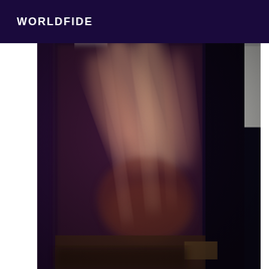WORLDFIDE
[Figure (photo): A blurry close-up photograph showing what appears to be a hand or fingers resting on a dark navy/purple upholstered surface. The image is motion-blurred and shows warm skin tones against the dark fabric background, with a white wall visible in the upper right corner.]